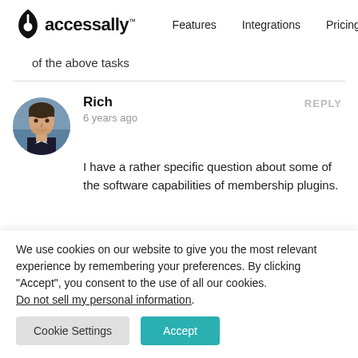accessally™  Features  Integrations  Pricing
of the above tasks
Rich
6 years ago
REPLY
I have a rather specific question about some of the software capabilities of membership plugins.
We use cookies on our website to give you the most relevant experience by remembering your preferences. By clicking "Accept", you consent to the use of all our cookies. Do not sell my personal information.
Cookie Settings  Accept